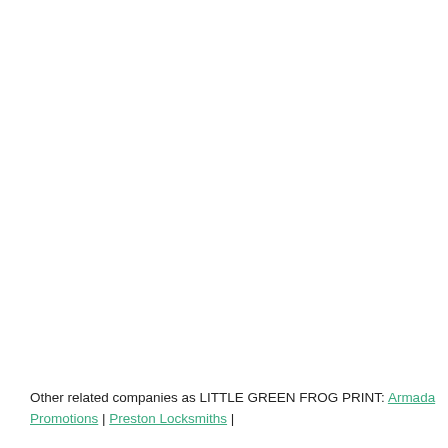Other related companies as LITTLE GREEN FROG PRINT: Armada Promotions | Preston Locksmiths |